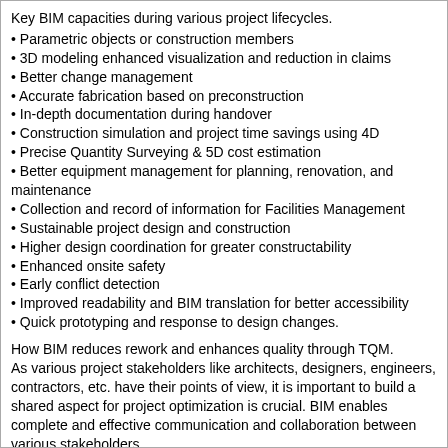Key BIM capacities during various project lifecycles.
Parametric objects or construction members
3D modeling enhanced visualization and reduction in claims
Better change management
Accurate fabrication based on preconstruction
In-depth documentation during handover
Construction simulation and project time savings using 4D
Precise Quantity Surveying & 5D cost estimation
Better equipment management for planning, renovation, and maintenance
Collection and record of information for Facilities Management
Sustainable project design and construction
Higher design coordination for greater constructability
Enhanced onsite safety
Early conflict detection
Improved readability and BIM translation for better accessibility
Quick prototyping and response to design changes.
How BIM reduces rework and enhances quality through TQM. As various project stakeholders like architects, designers, engineers, contractors, etc. have their points of view, it is important to build a shared aspect for project optimization is crucial. BIM enables complete and effective communication and collaboration between various stakeholders.
Enhanced communication and collaboration help in the reduction of plans and document exchange
It also improves the accuracy of content in these documents
BIM quickens project design, execution, and processes in a